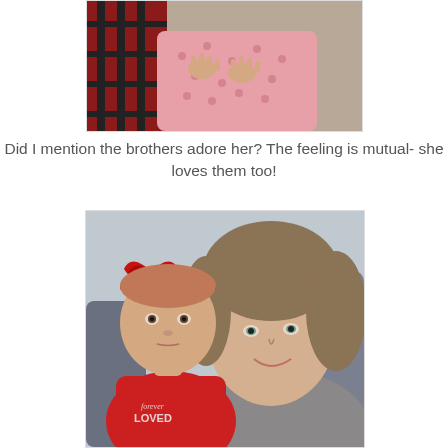[Figure (photo): Partial photo showing hands of a child in a pink polka-dot shirt, with a red and black plaid fabric and grey textured background visible]
Did I mention the brothers adore her? The feeling is mutual- she loves them too!
[Figure (photo): Selfie photo of a woman with a baby girl wearing a red outfit with a large red bow headband. The baby's outfit reads 'forever LOVED'. The woman is smiling and the baby has a serious expression.]